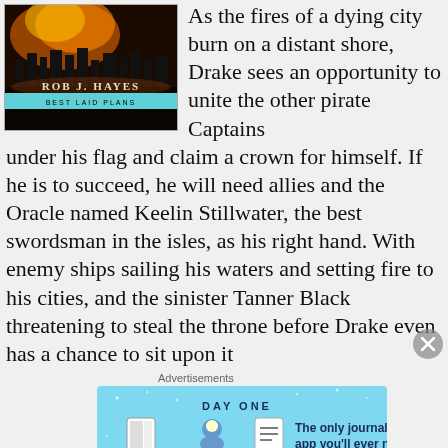[Figure (illustration): Book cover for 'Best Laid Plans' by Rob J. Hayes, showing a dark fantasy scene with fire and a city, author name and title text on the cover.]
As the fires of a dying city burn on a distant shore, Drake sees an opportunity to unite the other pirate Captains under his flag and claim a crown for himself. If he is to succeed, he will need allies and the Oracle named Keelin Stillwater, the best swordsman in the isles, as his right hand. With enemy ships sailing his waters and setting fire to his cities, and the sinister Tanner Black threatening to steal the throne before Drake even has a chance to sit upon it
Advertisements
[Figure (illustration): Advertisement banner for DAY ONE journaling app with text 'The only journaling app you'll ever need.']